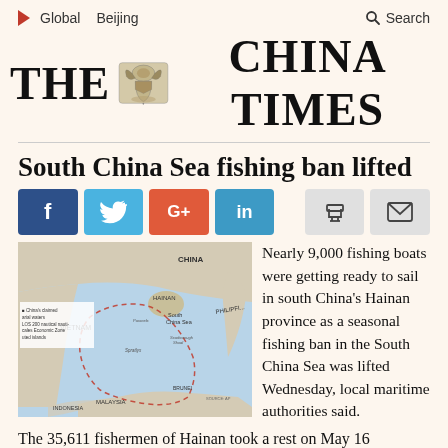Global   Beijing   Q Search
THE CHINA TIMES
South China Sea fishing ban lifted
[Figure (infographic): Social sharing buttons: Facebook (blue), Twitter (light blue), Google+ (red), LinkedIn (blue), Print icon (grey), Email icon (grey)]
[Figure (map): Map of the South China Sea region showing China, Hainan, Vietnam, Philippines, Malaysia, Brunei, Indonesia, with China's claimed territorial waters and 9-dash line boundary marked in dashed red/pink.]
Nearly 9,000 fishing boats were getting ready to sail in south China's Hainan province as a seasonal fishing ban in the South China Sea was lifted Wednesday, local maritime authorities said.
The 35,611 fishermen of Hainan took a rest on May 16